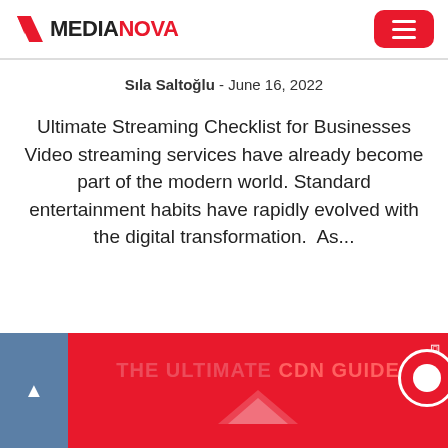MEDIANOVA
Sıla Saltoğlu - June 16, 2022
Ultimate Streaming Checklist for Businesses Video streaming services have already become part of the modern world. Standard entertainment habits have rapidly evolved with the digital transformation.  As...
[Figure (screenshot): Bottom banner showing 'THE ULTIMATE CDN GUIDE' promotional banner in red with a blue scroll-up tab on the left and a red chat bubble icon on the right]